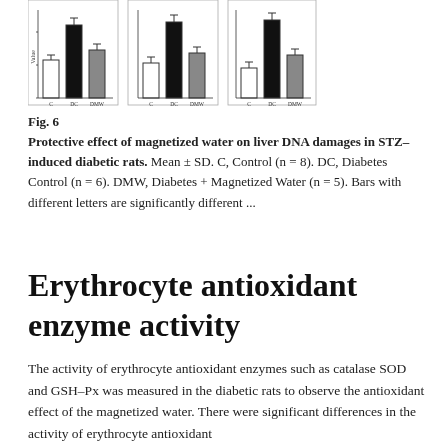[Figure (grouped-bar-chart): Three grouped bar charts side by side showing liver DNA damage measurements for C (Control), DC (Diabetes Control), and DMW (Diabetes + Magnetized Water) groups with error bars.]
Fig. 6
Protective effect of magnetized water on liver DNA damages in STZ-induced diabetic rats. Mean ± SD. C, Control (n = 8). DC, Diabetes Control (n = 6). DMW, Diabetes + Magnetized Water (n = 5). Bars with different letters are significantly different ...
Erythrocyte antioxidant enzyme activity
The activity of erythrocyte antioxidant enzymes such as catalase SOD and GSH-Px was measured in the diabetic rats to observe the antioxidant effect of the magnetized water. There were significant differences in the activity of erythrocyte antioxidant